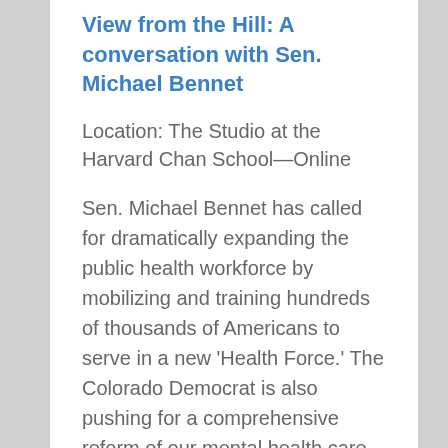View from the Hill: A conversation with Sen. Michael Bennet
Location: The Studio at the Harvard Chan School—Online
Sen. Michael Bennet has called for dramatically expanding the public health workforce by mobilizing and training hundreds of thousands of Americans to serve in a new 'Health Force.' The Colorado Democrat is also pushing for a comprehensive reform of our mental health care system to improve access, in part by leveraging services delivered